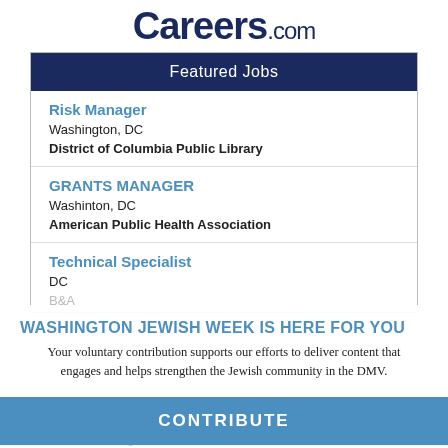Careers.com
Featured Jobs
Risk Manager
Washington, DC
District of Columbia Public Library
GRANTS MANAGER
Washinton, DC
American Public Health Association
Technical Specialist
DC
B&A
WASHINGTON JEWISH WEEK IS HERE FOR YOU
Your voluntary contribution supports our efforts to deliver content that engages and helps strengthen the Jewish community in the DMV.
CONTRIBUTE
Platform Engineer
DC
B&A